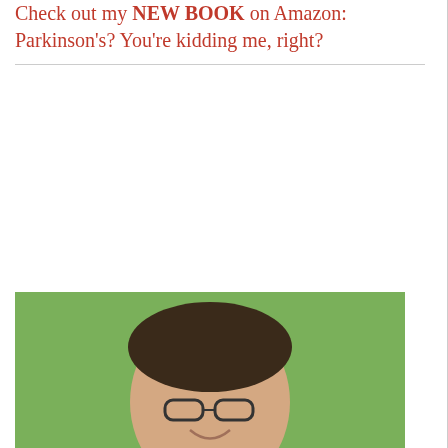Check out my NEW BOOK on Amazon: Parkinson's? You're kidding me, right?
always asking is, 'How is it that 50 years after its introduction, billions of research dollars later, and a ...
Continue reading →
SEPTEMBER 30, 2016 · 1 COMMENT
Oreg Cent open Worl Cong hard made
Cont
[Figure (photo): Photo of a smiling woman with short dark hair and glasses, wearing a floral shirt, outdoors with green trees in background. An orange banner with a raccoon cartoon is visible at the bottom.]
Pondering questions about our future